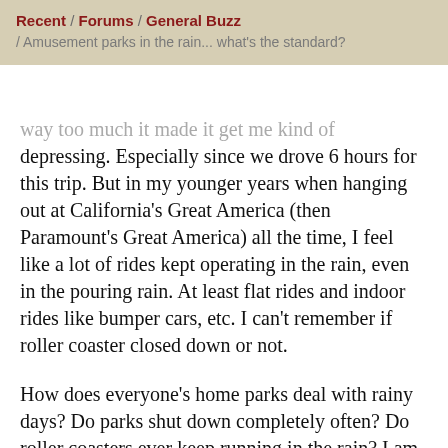Recent / Forums / General Buzz / Amusement parks in the rain... what's the standard?
way too much it made it get me kind of depressing. Especially since we drove 6 hours for this trip. But in my younger years when hanging out at California's Great America (then Paramount's Great America) all the time, I feel like a lot of rides kept operating in the rain, even in the pouring rain. At least flat rides and indoor rides like bumper cars, etc. I can't remember if roller coaster closed down or not.
How does everyone's home parks deal with rainy days? Do parks shut down completely often? Do roller coasters ever keep running in the rain? I am supposed to go to CGA tomorrow morning, but it just started pouring rain and now I am very curious. What are the